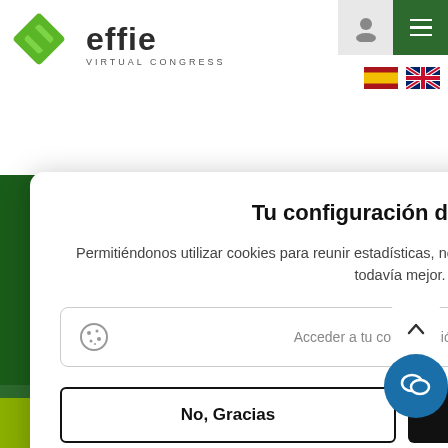[Figure (logo): Effie Virtual Congress logo with green diamond shape and text]
Virtual trade fair concept
Social action
Effie Energy Awards
Tu configuración de cookies
Permitiéndonos utilizar cookies para reunir estadísticas, nos ayudarás a que nuestra página web sea todavía mejor.
Acceder a tu configuración de cookies
No, Gracias
Aceptar